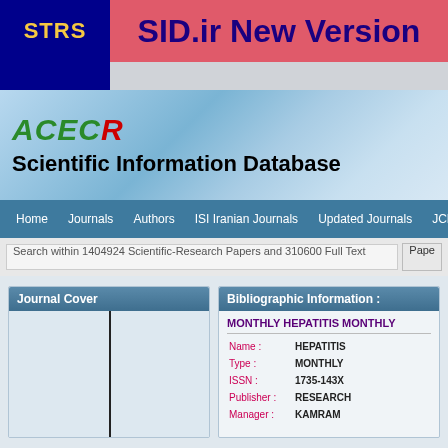STRS | SID.ir New Version
[Figure (logo): ACECR logo and Scientific Information Database header with blue gradient background]
Home | Journals | Authors | ISI Iranian Journals | Updated Journals | JCR | About
Search within 1404924 Scientific-Research Papers and 310600 Full Text | Pape
Journal Cover
Bibliographic Information :
MONTHLY HEPATITIS MONTHLY
| Field | Value |
| --- | --- |
| Name : | HEPATITIS |
| Type : | MONTHLY |
| ISSN : | 1735-143X |
| Publisher : | RESEARCH |
| Manager : | KAMRAM |